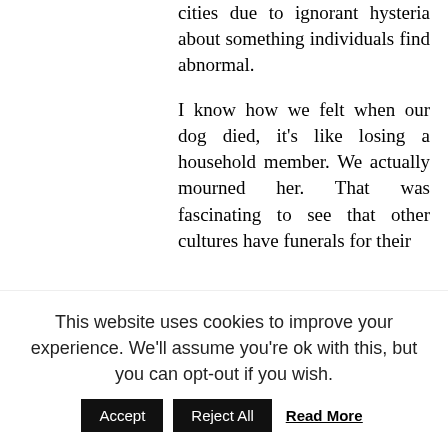cities due to ignorant hysteria about something individuals find abnormal.

I know how we felt when our dog died, it’s like losing a household member. We actually mourned her. That was fascinating to see that other cultures have funerals for their
This website uses cookies to improve your experience. We'll assume you're ok with this, but you can opt-out if you wish.